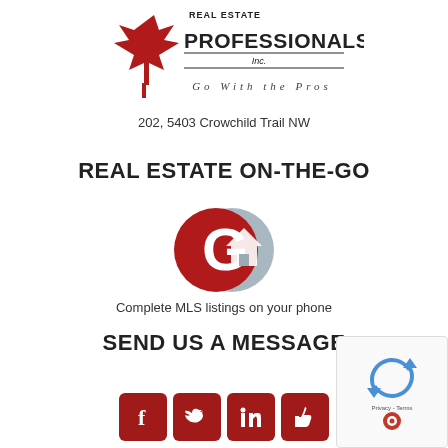[Figure (logo): Real Estate Professionals Inc. logo with red maple leaf and text 'Go With the Pros']
202, 5403 Crowchild Trail NW
REAL ESTATE ON-THE-GO
[Figure (logo): GO real estate app icon — red G and gray house circle logo]
Complete MLS listings on your phone
SEND US A MESSAGE
[Figure (illustration): Four dark red social media icon buttons: Facebook, Twitter, LinkedIn, and a thumbs-up/like button]